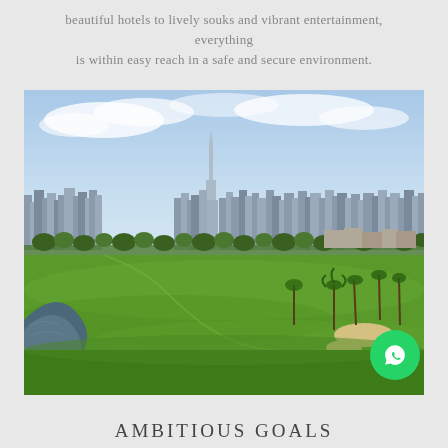beautiful hotels to lively souks and vibrant entertainment, everything is within easy reach in a safe and secure environment.
[Figure (photo): Aerial view of a golf course with green fairways, sand bunkers, and a water feature in the foreground, with the Dubai skyline including the Burj Khalifa visible in the background under a blue sky with clouds.]
AMBITIOUS GOALS